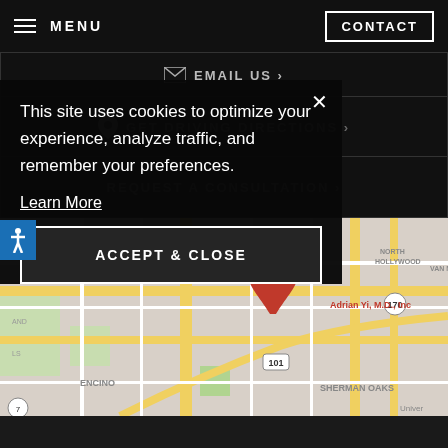MENU | CONTACT
EMAIL US >
GET DRIVING DIRECTIONS >
REQUEST A CONSULTATION >
[Figure (map): Google Maps showing Sherman Oaks area with Adrian Yi, M.D., Inc location pin, showing Encino, Van Nuys, North Hollywood, Sherman Oaks, with highways 101 and 170 visible]
This site uses cookies to optimize your experience, analyze traffic, and remember your preferences.
Learn More
ACCEPT & CLOSE